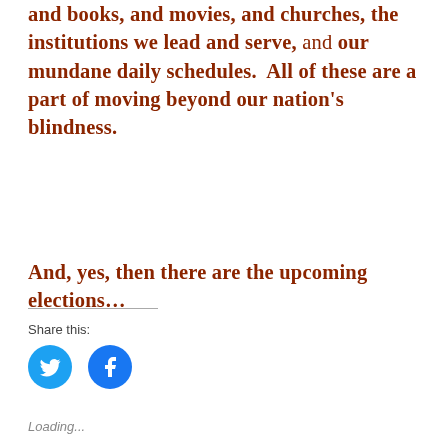and books, and movies, and churches, the institutions we lead and serve, and our mundane daily schedules.  All of these are a part of moving beyond our nation's blindness.
And, yes, then there are the upcoming elections…
Share this:
[Figure (other): Twitter and Facebook social share icon buttons (blue circles with bird and f logos)]
Loading...